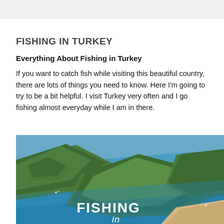FISHING IN TURKEY
Everything About Fishing in Turkey
If you want to catch fish while visiting this beautiful country, there are lots of things you need to know. Here I'm going to try to be a bit helpful. I visit Turkey very often and I go fishing almost everyday while I am in there.
[Figure (photo): Aerial view of a scenic Turkish bay with green forested hills, turquoise blue water, a sandy beach, and the overlay text 'FISHING in']